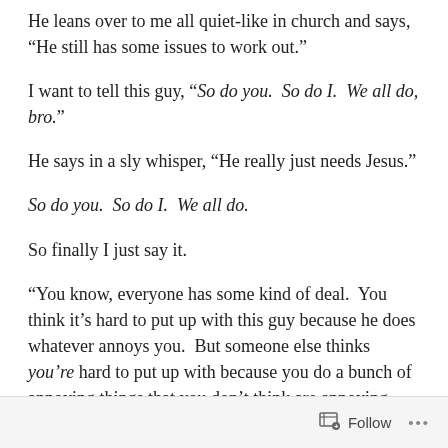He leans over to me all quiet-like in church and says, “He still has some issues to work out.”
I want to tell this guy, “So do you.  So do I.  We all do, bro.”
He says in a sly whisper, “He really just needs Jesus.”
So do you.  So do I.  We all do.
So finally I just say it.
“You know, everyone has some kind of deal.  You think it’s hard to put up with this guy because he does whatever annoys you.  But someone else thinks you’re hard to put up with because you do a bunch of annoying things that you don’t think are annoying, and if you don’t think so, then you must be God.  And everyone is just secretly keeping
Follow …